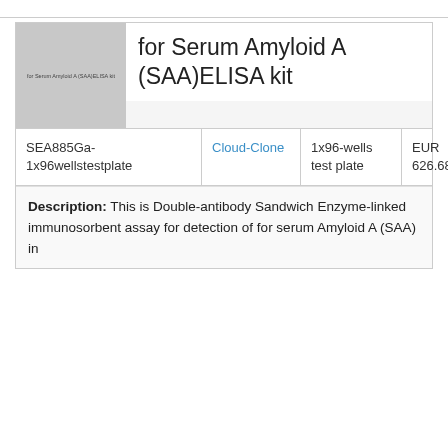for Serum Amyloid A (SAA)ELISA kit
| Catalog ID | Supplier | Size | Price |
| --- | --- | --- | --- |
| SEA885Ga-1x96wellstestplate | Cloud-Clone | 1x96-wells test plate | EUR 626.68 |
Description: This is Double-antibody Sandwich Enzyme-linked immunosorbent assay for detection of for serum Amyloid A (SAA) in